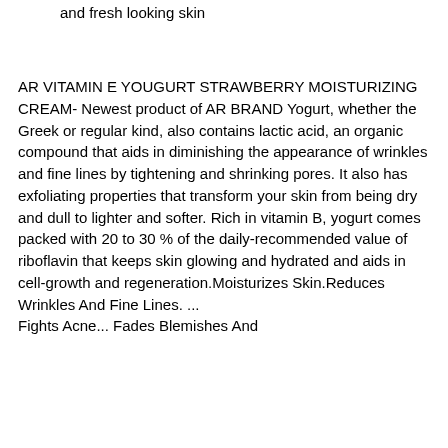and fresh looking skin
AR VITAMIN E YOUGURT STRAWBERRY MOISTURIZING CREAM- Newest product of AR BRAND Yogurt, whether the Greek or regular kind, also contains lactic acid, an organic compound that aids in diminishing the appearance of wrinkles and fine lines by tightening and shrinking pores. It also has exfoliating properties that transform your skin from being dry and dull to lighter and softer. Rich in vitamin B, yogurt comes packed with 20 to 30 % of the daily-recommended value of riboflavin that keeps skin glowing and hydrated and aids in cell-growth and regeneration.Moisturizes Skin.Reduces Wrinkles And Fine Lines. ... Fights Acne... Fades Blemishes And